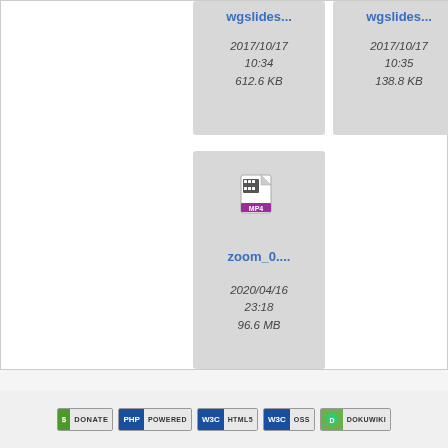[Figure (screenshot): File browser grid showing file cards. Top row: two file cards labeled 'wgslides...' dated 2017/10/17 10:34 612.6 KB and 2017/10/17 10:35 138.8 KB. A third card is partially cropped on the right. Bottom row: one file card with MP4 icon labeled 'zoom_0....' dated 2020/04/16 23:18 96.6 MB.]
wgslides...
2017/10/17
10:34
612.6 KB
wgslides...
2017/10/17
10:35
138.8 KB
zoom_0....
2020/04/16
23:18
96.6 MB
DONATE | PHP POWERED | WSC HTML5 | WSC OSS | DOKUWIKI